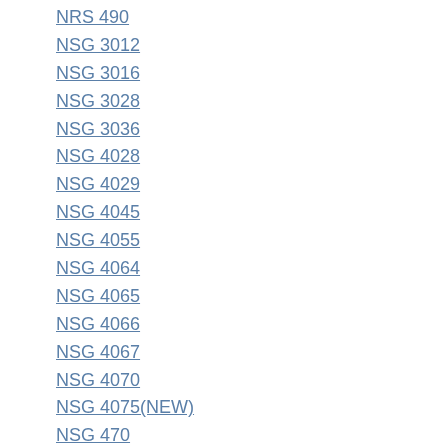NRS 490
NSG 3012
NSG 3016
NSG 3028
NSG 3036
NSG 4028
NSG 4029
NSG 4045
NSG 4055
NSG 4064
NSG 4065
NSG 4066
NSG 4067
NSG 4070
NSG 4075(NEW)
NSG 470
NSG 5000
NSG 5002
NSG 5003